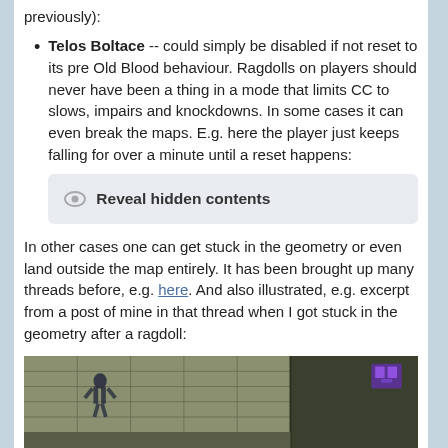previously):
Telos Boltace -- could simply be disabled if not reset to its pre Old Blood behaviour. Ragdolls on players should never have been a thing in a mode that limits CC to slows, impairs and knockdowns. In some cases it can even break the maps. E.g. here the player just keeps falling for over a minute until a reset happens:
[Figure (screenshot): A UI element showing 'Reveal hidden contents' with an eye icon, styled as a gray rounded box]
In other cases one can get stuck in the geometry or even land outside the map entirely. It has been brought up many threads before, e.g. here. And also illustrated, e.g. excerpt from a post of mine in that thread when I got stuck in the geometry after a ragdoll:
[Figure (screenshot): In-game screenshot showing a character stuck in the ceiling geometry of a corridor in a sci-fi environment, with a purple player indicator in the top right corner]